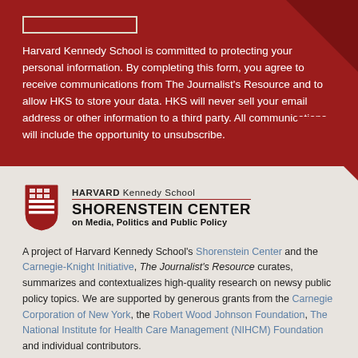Harvard Kennedy School is committed to protecting your personal information. By completing this form, you agree to receive communications from The Journalist's Resource and to allow HKS to store your data. HKS will never sell your email address or other information to a third party. All communications will include the opportunity to unsubscribe.
[Figure (logo): Harvard Kennedy School Shorenstein Center on Media, Politics and Public Policy logo with shield]
A project of Harvard Kennedy School's Shorenstein Center and the Carnegie-Knight Initiative, The Journalist's Resource curates, summarizes and contextualizes high-quality research on newsy public policy topics. We are supported by generous grants from the Carnegie Corporation of New York, the Robert Wood Johnson Foundation, The National Institute for Health Care Management (NIHCM) Foundation and individual contributors.